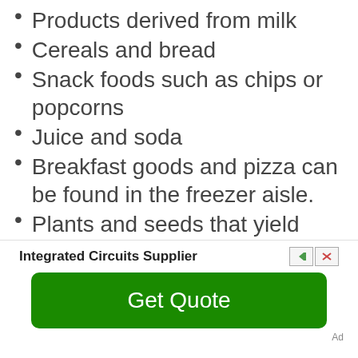Products derived from milk
Cereals and bread
Snack foods such as chips or popcorns
Juice and soda
Breakfast goods and pizza can be found in the freezer aisle.
Plants and seeds that yield nourishment for the family
Integrated Circuits Supplier
Get Quote
Ad